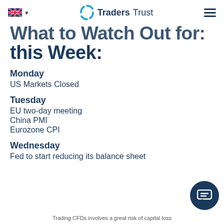TradersTrust
What to Watch Out for this Week:
Monday
US Markets Closed
Tuesday
EU two-day meeting
China PMI
Eurozone CPI
Wednesday
Fed to start reducing its balance sheet
Trading CFDs involves a great risk of capital loss